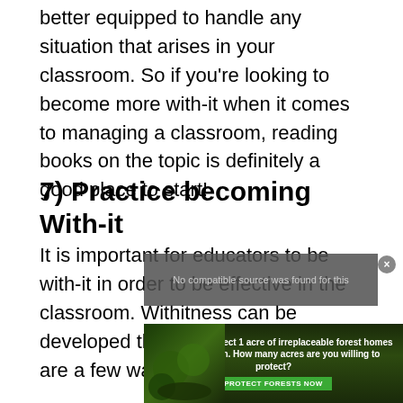better equipped to handle any situation that arises in your classroom. So if you're looking to become more with-it when it comes to managing a classroom, reading books on the topic is definitely a good place to start!
7) Practice becoming With-it
It is important for educators to be with-it in order to be effective in the classroom. Withitness can be developed through practice. There are a few ways that educators
[Figure (other): Advertisement overlay showing a forest/Amazon conservation ad with text 'Just $2 can protect 1 acre of irreplaceable forest homes in the Amazon. How many acres are you willing to protect?' with a green 'PROTECT FORESTS NOW' button, and a video player overlay showing 'No compatible source was found for this']